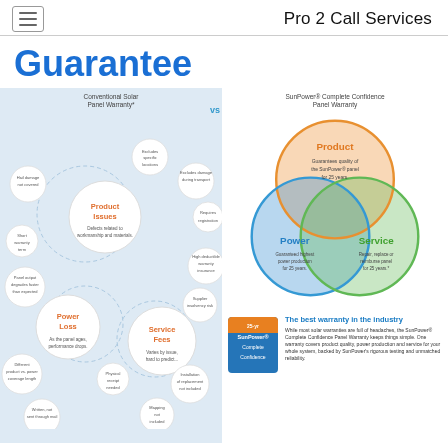Pro 2 Call Services
Guarantee
[Figure (infographic): Left half: Conventional Solar Panel Warranty* showing bubble diagram with central 'Product Issues' circle (Defects related to workmanship and materials), 'Power Loss' circle (As the panel ages, performance drops.), and 'Service Fees' circle (Varies by issue, hard to predict...), surrounded by smaller issue bubbles: 'Excludes specific locations', 'Hail damage not covered', 'Short warranty term', 'Panel output degrades faster than expected', 'Excludes damage during transport', 'Requires registration', 'High deductible warranty insurance', 'Supplier insolvency risk', 'Installation of replacement not included', 'Physical receipt needed', 'Different product vs. power coverage length', 'Written, no sent through mail', 'Mapping not included'. Right half: SunPower Complete Confidence Panel Warranty showing a three-circle Venn diagram with 'Product' (orange, Guarantees quality of the SunPower panel for 25 years.), 'Power' (blue, Guaranteed highest power production for 25 years.), and 'Service' (green, Repair, replace or reimburse panel for 25 years.) overlapping circles. Below: badge with '25-yr SunPower Complete Confidence' and text 'The best warranty in the industry' with description.]
The best warranty in the industry
While most solar warranties are full of headaches, the SunPower® Complete Confidence Panel Warranty keeps things simple. One warranty covers product quality, power production and service for your whole system, backed by SunPower's rigorous testing and unmatched reliability.